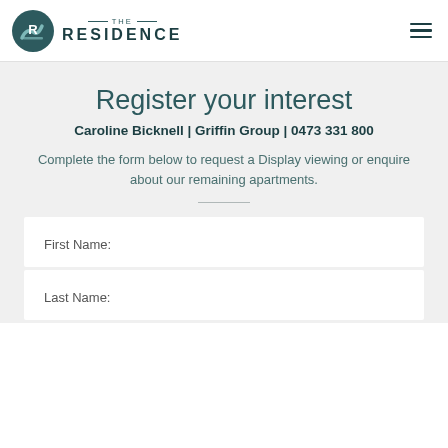THE RESIDENCE
Register your interest
Caroline Bicknell | Griffin Group | 0473 331 800
Complete the form below to request a Display viewing or enquire about our remaining apartments.
First Name:
Last Name: